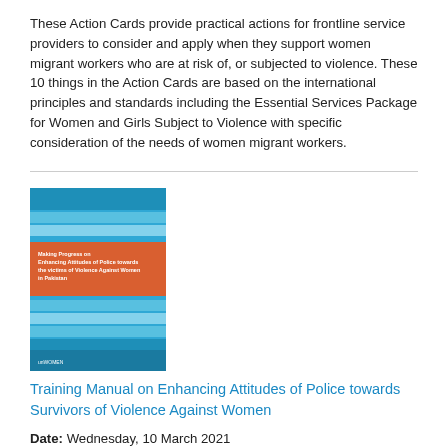These Action Cards provide practical actions for frontline service providers to consider and apply when they support women migrant workers who are at risk of, or subjected to violence. These 10 things in the Action Cards are based on the international principles and standards including the Essential Services Package for Women and Girls Subject to Violence with specific consideration of the needs of women migrant workers.
[Figure (photo): Book cover for 'Training Manual on Enhancing Attitudes of Police towards Survivors of Violence Against Women in Pakistan'. Blue cover with orange/red title band and UN Women logo.]
Training Manual on Enhancing Attitudes of Police towards Survivors of Violence Against Women
Date: Wednesday, 10 March 2021
UN Women Pakistan has developed a Training Manual on Enhancing Attitudes of Police towards Survivors of Violence Against Women with the aim to enhance the capacity of law enforcement officials for understanding gender dynamics and